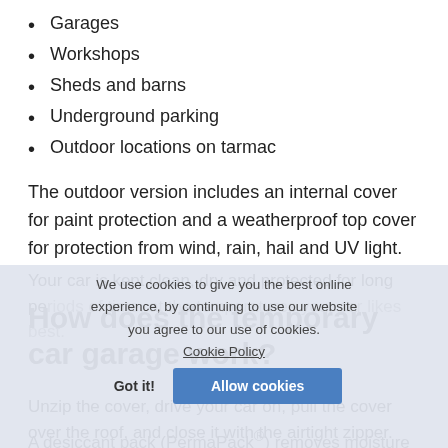Garages
Workshops
Sheds and barns
Underground parking
Outdoor locations on tarmac
The outdoor version includes an internal cover for paint protection and a weatherproof top cover for protection from wind, rain, hail and UV light.
Your car is kept clean, dry and protected for long periods of time, at the temperatures your car likes best.
How does the temporary car garage work?
Unzip the cover, drive your car on, pull the cover over the roof, and close it with the airtight zipper.
A desiccant pack (PermaPack®) removes moisture from inside the cover and achieves the ideal humidity level